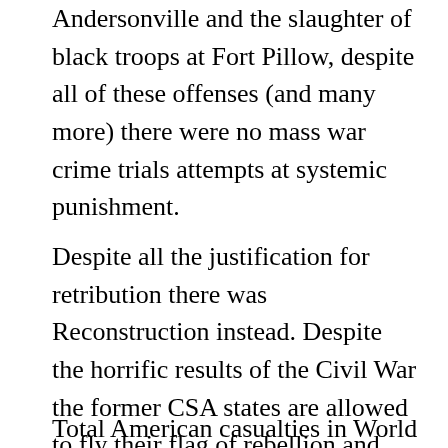Andersonville and the slaughter of black troops at Fort Pillow, despite all of these offenses (and many more) there were no mass war crime trials attempts at systemic punishment.
Despite all the justification for retribution there was Reconstruction instead. Despite the horrific results of the Civil War the former CSA states are allowed to fly their flag of rebellion and celebrate their treason without fear of punishment to this very day.
Total American casualties in World